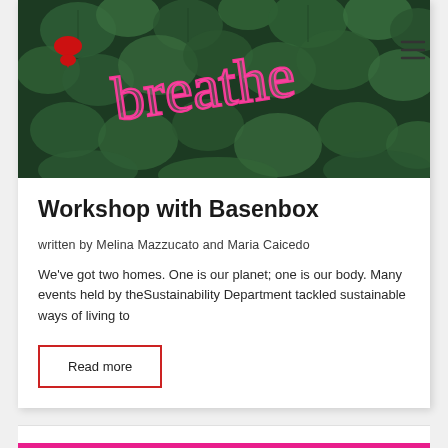[Figure (photo): Dark green leafy background with pink neon cursive text reading 'breathe'. A red/dark logo icon is in the top left corner and a hamburger menu icon in the top right.]
Workshop with Basenbox
written by Melina Mazzucato and Maria Caicedo
We've got two homes. One is our planet; one is our body. Many events held by theSustainability Department tackled sustainable ways of living to
Read more